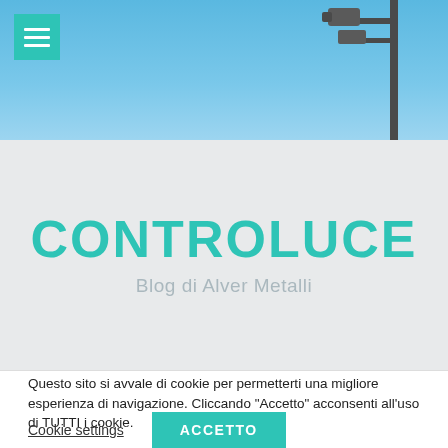[Figure (photo): Blue sky with power lines/lamp post in top right corner, serving as hero background image for a blog website]
CONTROLUCE
Blog di Alver Metalli
Questo sito si avvale di cookie per permetterti una migliore esperienza di navigazione. Cliccando “Accetto” acconsenti all'uso di TUTTI i cookie.
Cookie settings
ACCETTO